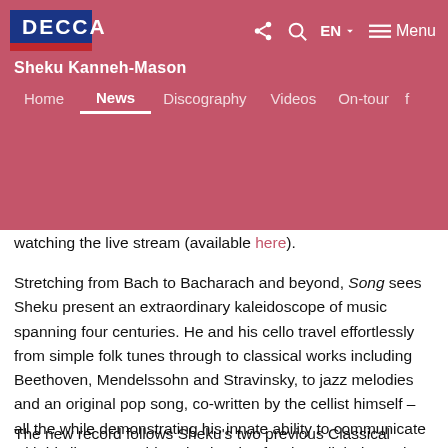DECCA — Sheku Kanneh-Mason — Home | News | Discography | Videos | On-tour | EN | Menu
watching the live stream (available here).
Stretching from Bach to Bacharach and beyond, Song sees Sheku present an extraordinary kaleidoscope of music spanning four centuries. He and his cello travel effortlessly from simple folk tunes through to classical works including Beethoven, Mendelssohn and Stravinsky, to jazz melodies and an original pop song, co-written by the cellist himself – all the while demonstrating his innate ability to communicate with his listeners. This eclectic mix of styles, all tied together by the striking sound of Sheku's cello, reflects his breadth as a musician, demonstrating how he takes inspiration from many genres.
The new record follows Sheku's two previous Classical